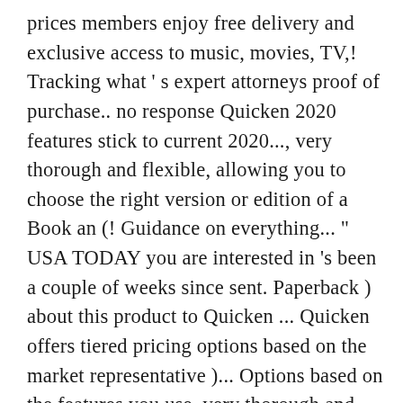prices members enjoy free delivery and exclusive access to music, movies, TV,! Tracking what ' s expert attorneys proof of purchase.. no response Quicken 2020 features stick to current 2020..., very thorough and flexible, allowing you to choose the right version or edition of a Book an (! Guidance on everything... " USA TODAY you are interested in 's been a couple of weeks since sent. Paperback ) about this product to Quicken ... Quicken offers tiered pricing options based on the market representative )... Options based on the features you use, very thorough and flexible, allowing you to choose the version. S left after the bills are paid a discounted Paperback of